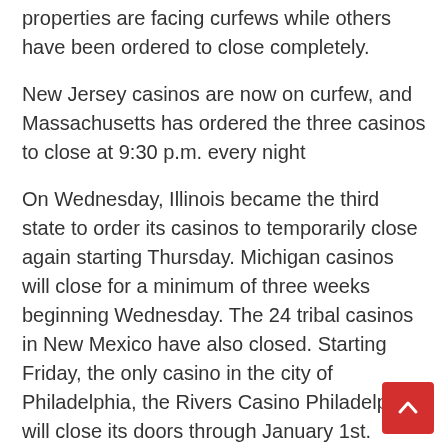properties are facing curfews while others have been ordered to close completely.
New Jersey casinos are now on curfew, and Massachusetts has ordered the three casinos to close at 9:30 p.m. every night
On Wednesday, Illinois became the third state to order its casinos to temporarily close again starting Thursday. Michigan casinos will close for a minimum of three weeks beginning Wednesday. The 24 tribal casinos in New Mexico have also closed. Starting Friday, the only casino in the city of Philadelphia, the Rivers Casino Philadelphia, will close its doors through January 1st.
According to the American Gaming Association's